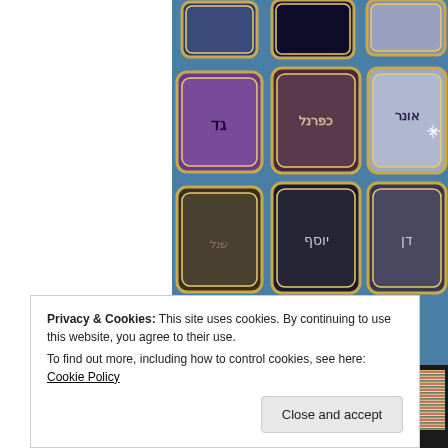[Figure (photo): A grid of gemstones or jeweled pieces with Hebrew text inscriptions, set in ornate gold/silver frames on a blue background. Visible in a 3x3 partial grid arrangement.]
[Figure (photo): A woven textile or bracelet with multicolored yarn pattern in red, white, green and other colors, on a dark background.]
Privacy & Cookies: This site uses cookies. By continuing to use this website, you agree to their use.
To find out more, including how to control cookies, see here: Cookie Policy